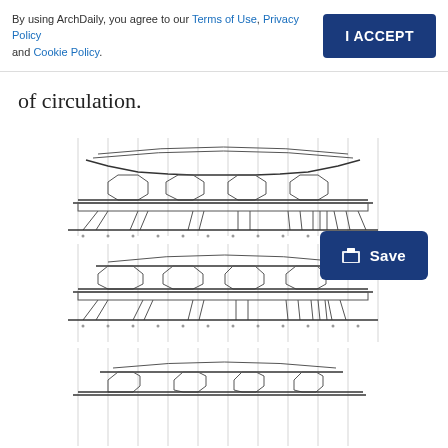By using ArchDaily, you agree to our Terms of Use, Privacy Policy and Cookie Policy. | I ACCEPT
of circulation.
[Figure (engineering-diagram): Architectural cross-section elevation drawing of a large-span building structure with curved roof, showing structural columns, beams, and foundation details. Three stacked variants shown.]
[Figure (other): Save button with folder icon]